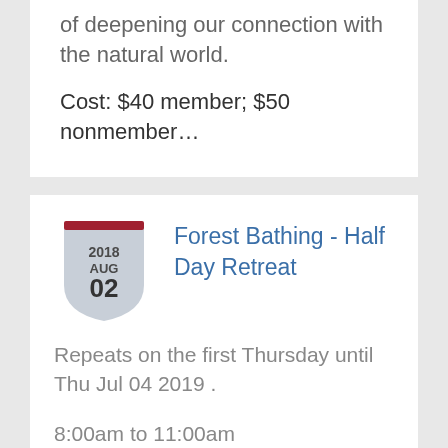of deepening our connection with the natural world.
Cost: $40 member; $50 nonmember…
[Figure (illustration): Shield/badge icon showing date 2018 AUG 02 with dark red top bar and light gray shield shape]
Forest Bathing - Half Day Retreat
Repeats on the first Thursday until Thu Jul 04 2019 .
8:00am to 11:00am
8:00am to 11:00am
8:00am to 11:00am